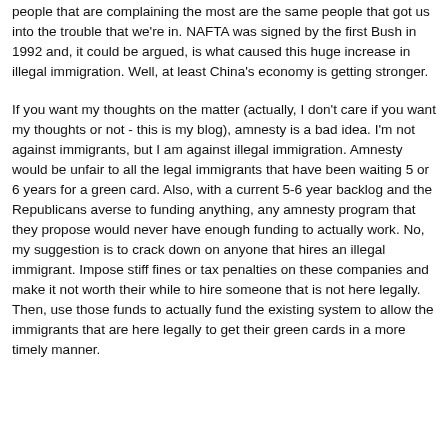people that are complaining the most are the same people that got us into the trouble that we're in. NAFTA was signed by the first Bush in 1992 and, it could be argued, is what caused this huge increase in illegal immigration. Well, at least China's economy is getting stronger.
If you want my thoughts on the matter (actually, I don't care if you want my thoughts or not - this is my blog), amnesty is a bad idea. I'm not against immigrants, but I am against illegal immigration. Amnesty would be unfair to all the legal immigrants that have been waiting 5 or 6 years for a green card. Also, with a current 5-6 year backlog and the Republicans averse to funding anything, any amnesty program that they propose would never have enough funding to actually work. No, my suggestion is to crack down on anyone that hires an illegal immigrant. Impose stiff fines or tax penalties on these companies and make it not worth their while to hire someone that is not here legally. Then, use those funds to actually fund the existing system to allow the immigrants that are here legally to get their green cards in a more timely manner.